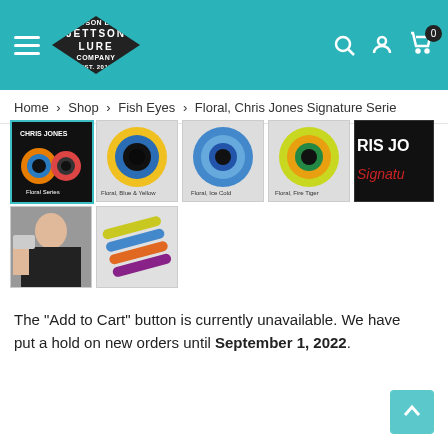[Figure (screenshot): Jettson Lure Company website header with teal background, hamburger menu, diamond-shaped logo, and search/user/cart icons]
Home > Shop > Fish Eyes > Floral, Chris Jones Signature Serie
[Figure (photo): Product gallery images showing Floral Series fish eyes (lures) in various colors: Blue & Yellow, Ice Cold, Fire Tiger, Chris Jones signature branding, a man holding product, and colorful fishing lures]
The "Add to Cart" button is currently unavailable. We have put a hold on new orders until September 1, 2022.